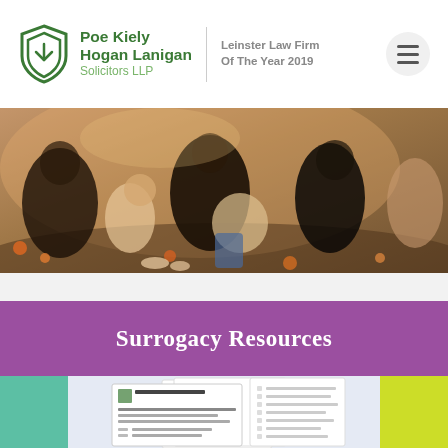[Figure (logo): Poe Kiely Hogan Lanigan Solicitors LLP logo with green shield icon]
Leinster Law Firm Of The Year 2019
[Figure (photo): Family photo with adults and children sitting together outdoors among flowers]
Surrogacy Resources
[Figure (photo): Document/brochure mockup showing surrogacy resources materials from Poe Kiely Hogan Lanigan]